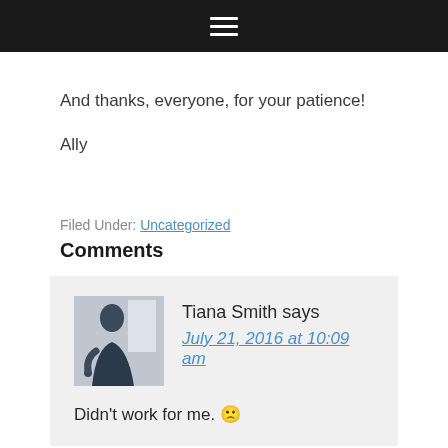≡
And thanks, everyone, for your patience!
Ally
Filed Under: Uncategorized
Comments
Tiana Smith says
July 21, 2016 at 10:09 am
Didn't work for me. 🙁